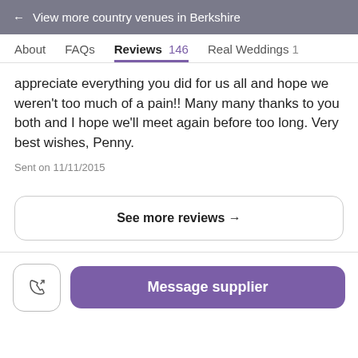← View more country venues in Berkshire
About   FAQs   Reviews 146   Real Weddings 1
appreciate everything you did for us all and hope we weren't too much of a pain!! Many many thanks to you both and I hope we'll meet again before too long. Very best wishes, Penny.
Sent on 11/11/2015
See more reviews →
Message supplier